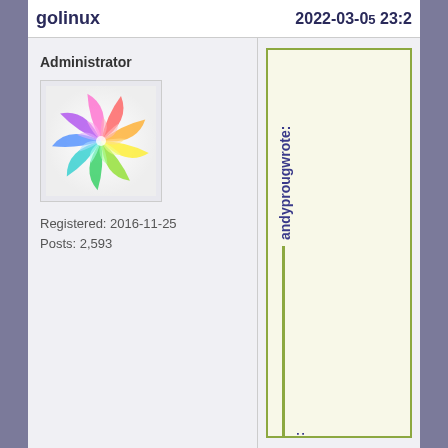golinux   2022-03-05 23:2
Administrator
[Figure (illustration): Colorful rainbow spiral avatar image]
Registered: 2016-11-25
Posts: 2,593
andyprougwrote:
golirlyvrcte: